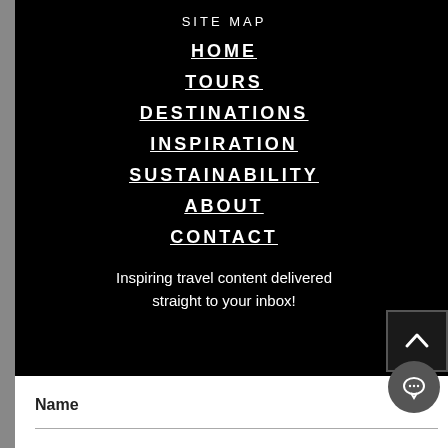SITE MAP
HOME
TOURS
DESTINATIONS
INSPIRATION
SUSTAINABILITY
ABOUT
CONTACT
Inspiring travel content delivered straight to your inbox!
Name